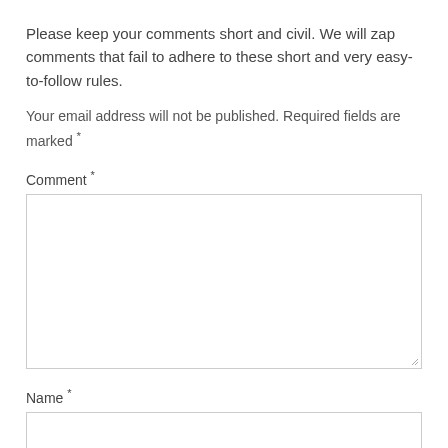Please keep your comments short and civil. We will zap comments that fail to adhere to these short and very easy-to-follow rules.
Your email address will not be published. Required fields are marked *
Comment *
[Figure (other): Empty comment textarea input field]
Name *
[Figure (other): Empty name text input field]
Email *